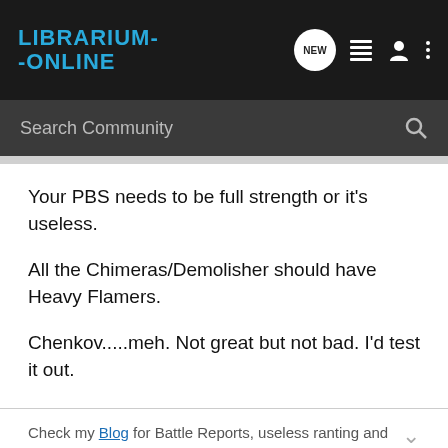LIBRARIUM-ONLINE
Search Community
Your PBS needs to be full strength or it's useless.

All the Chimeras/Demolisher should have Heavy Flamers.

Chenkov.....meh. Not great but not bad. I'd test it out.
Check my Blog for Battle Reports, useless ranting and more! Comments appreciated.
Luckee · Registered
Joined Jun 2, 2009 · 51 Posts